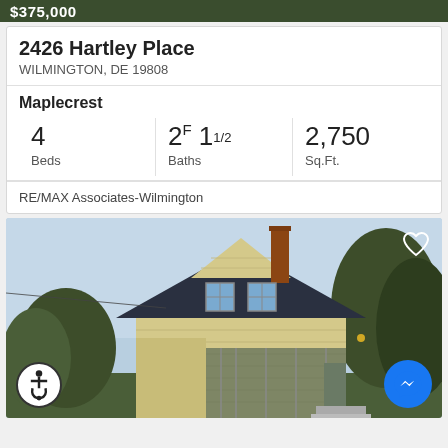$375,000
2426 Hartley Place
WILMINGTON, DE 19808
Maplecrest
| Beds | Baths | Sq.Ft. |
| --- | --- | --- |
| 4 | 2F 1 1/2 | 2,750 |
RE/MAX Associates-Wilmington
[Figure (photo): Exterior photo of a two-story yellow house with dark roof, chimney, screened porch, and surrounding trees]